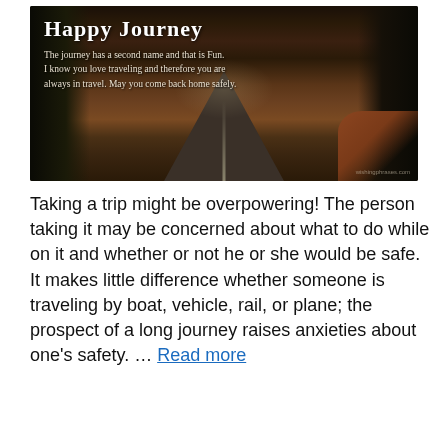[Figure (photo): Dark atmospheric photo of a road at night or dusk, surrounded by trees on both sides, with a reddish-brown dirt patch on the right, and text overlay reading 'Happy Journey' with a quote about traveling.]
Taking a trip might be overpowering! The person taking it may be concerned about what to do while on it and whether or not he or she would be safe. It makes little difference whether someone is traveling by boat, vehicle, rail, or plane; the prospect of a long journey raises anxieties about one's safety. … Read more